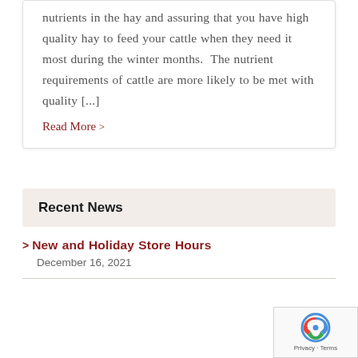nutrients in the hay and assuring that you have high quality hay to feed your cattle when they need it most during the winter months.  The nutrient requirements of cattle are more likely to be met with quality [...]
Read More >
Recent News
New and Holiday Store Hours
December 16, 2021